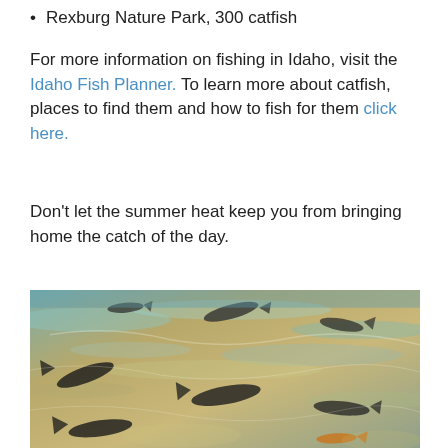Rexburg Nature Park, 300 catfish
For more information on fishing in Idaho, visit the Idaho Fish Planner. To learn more about catfish, places to find them and how to fish for them click here.
Don’t let the summer heat keep you from bringing home the catch of the day.
[Figure (photo): Aerial or close-up view of multiple catfish swimming in shallow, clear water with sandy/rocky bottom visible through the water surface.]